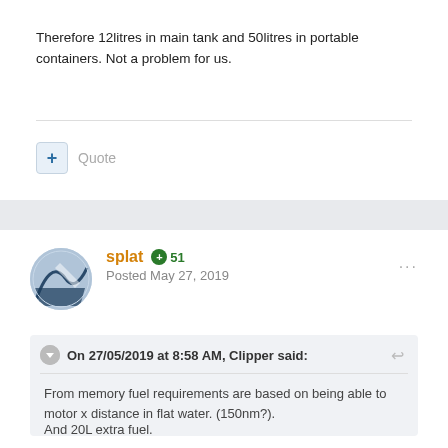Therefore 12litres in main tank and 50litres in portable containers. Not a problem for us.
Quote
splat  51
Posted May 27, 2019
On 27/05/2019 at 8:58 AM, Clipper said:
From memory fuel requirements are based on being able to motor x distance in flat water. (150nm?).
And 20L extra fuel.